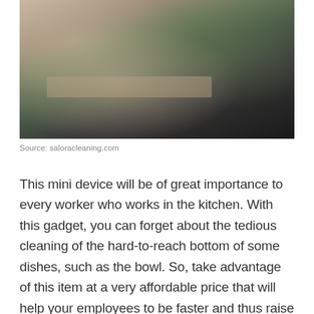[Figure (photo): A kitchen worker wearing a dark apron cleaning a stainless steel surface with a green cloth in a commercial kitchen environment]
Source: saloracleaning.com
This mini device will be of great importance to every worker who works in the kitchen. With this gadget, you can forget about the tedious cleaning of the hard-to-reach bottom of some dishes, such as the bowl. So, take advantage of this item at a very affordable price that will help your employees to be faster and thus raise the service to a higher level. All you need to do is turn on this device, set it in the appropriate position and clean the bottom. It can even help you with hard to reach places in appliances like kitchen hood. But it is questionable does it have enough power to clean grease and similar residues